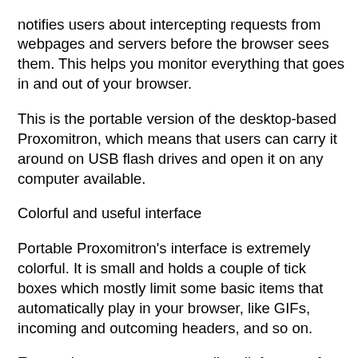notifies users about intercepting requests from webpages and servers before the browser sees them. This helps you monitor everything that goes in and out of your browser.
This is the portable version of the desktop-based Proxomitron, which means that users can carry it around on USB flash drives and open it on any computer available.
Colorful and useful interface
Portable Proxomitron&#039;s interface is extremely colorful. It is small and holds a couple of tick boxes which mostly limit some basic items that automatically play in your browser, like GIFs, incoming and outcoming headers, and so on.
Except that, users can manually edit features for a target webpage, manually connect to HTTP proxies, and access a configuration segment where more advanced options for the tool are